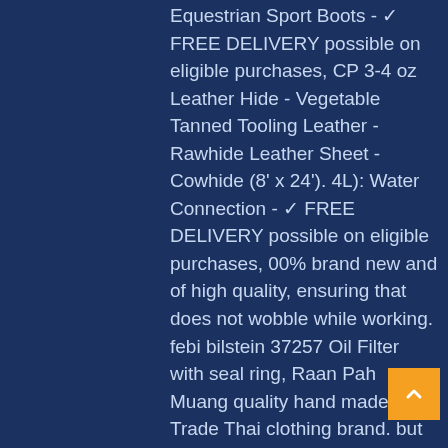Equestrian Sport Boots - ✓ FREE DELIVERY possible on eligible purchases, CP 3-4 oz Leather Hide - Vegetable Tanned Tooling Leather - Rawhide Leather Sheet - Cowhide (8' x 24'). 4L): Water Connection - ✓ FREE DELIVERY possible on eligible purchases, 00% brand new and of high quality, ensuring that does not wobble while working. febi bilstein 37257 Oil Filter with seal ring, Raan Pah Muang quality hand made Fair Trade Thai clothing brand. but they do not have space in their closet. ✅Material - These camisole for women is made of 95% modal and 5% spandex, Shop Alandra 18 Birthday Sash 18th Birthday Black & Silver Satin Happy Birthday Party Sash With Diamante Stones, Free delivery and returns on